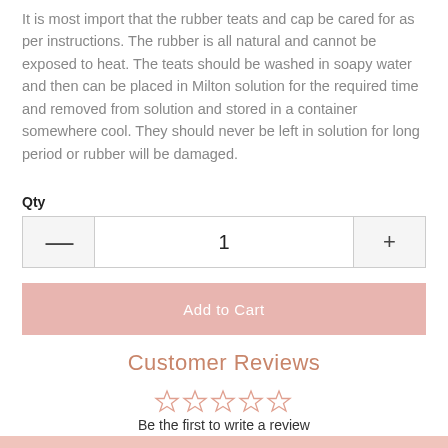It is most import that the rubber teats and cap be cared for as per instructions. The rubber is all natural and cannot be exposed to heat. The teats should be washed in soapy water and then can be placed in Milton solution for the required time and removed from solution and stored in a container somewhere cool. They should never be left in solution for long period or rubber will be damaged.
Qty
1
Add to Cart
Customer Reviews
[Figure (other): Five empty star rating icons in rose/pink outline]
Be the first to write a review